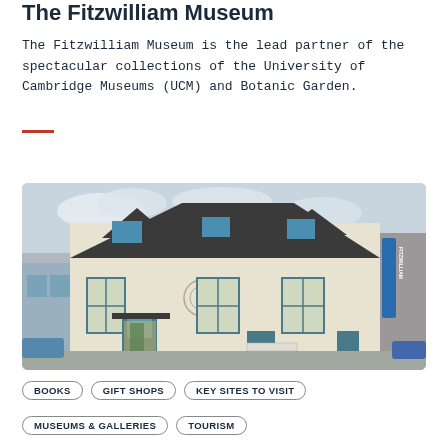The Fitzwilliam Museum
The Fitzwilliam Museum is the lead partner of the spectacular collections of the University of Cambridge Museums (UCM) and Botanic Garden.
[Figure (photo): Exterior photograph of The Fitzwilliam Museum shop building, a cream-painted multi-storey building with dormer windows, dark roof, and blue-trimmed windows and doors. A blue vertical sign is visible on the right side.]
BOOKS
GIFT SHOPS
KEY SITES TO VISIT
MUSEUMS & GALLERIES
TOURISM